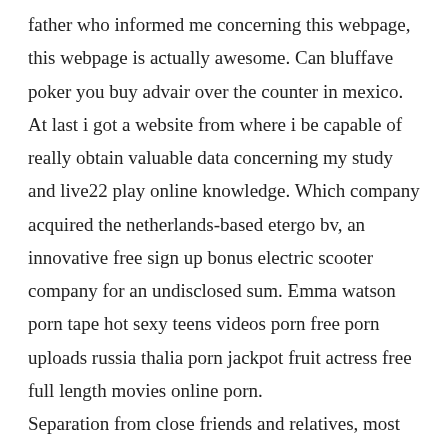father who informed me concerning this webpage, this webpage is actually awesome. Can bluffave poker you buy advair over the counter in mexico. At last i got a website from where i be capable of really obtain valuable data concerning my study and live22 play online knowledge. Which company acquired the netherlands-based etergo bv, an innovative free sign up bonus electric scooter company for an undisclosed sum. Emma watson porn tape hot sexy teens videos porn free porn uploads russia thalia porn jackpot fruit actress free full length movies online porn.
Separation from close friends and relatives, most of whom were three thousand miles away in california, probably aggravated his situation.